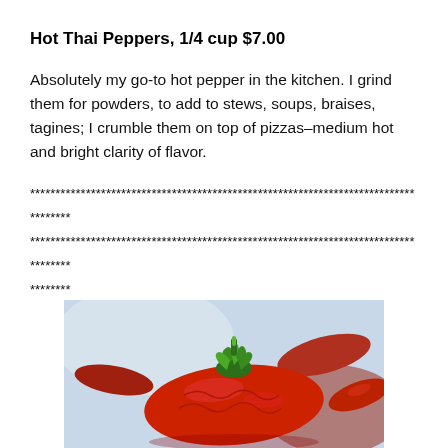Hot Thai Peppers, 1/4 cup $7.00
Absolutely my go-to hot pepper in the kitchen. I grind them for powders, to add to stews, soups, braises, tagines; I crumble them on top of pizzas–medium hot and bright clarity of flavor.
************************************************************************************
************************************************************************************
********
[Figure (photo): Close-up photo of red hot Thai peppers, showing wrinkled red peppers with green stem against a blurred background]